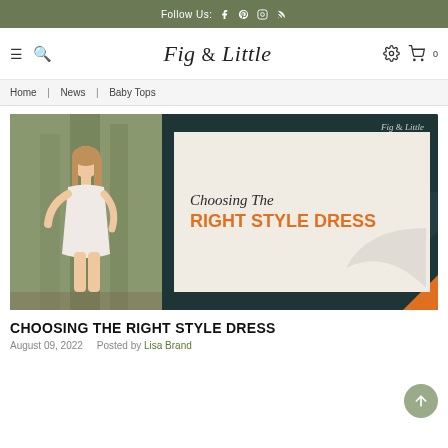Follow Us:
[Figure (screenshot): Fig & Little website navigation bar with hamburger menu, search icon, logo, settings and cart icons]
Home | News | Baby Tops
[Figure (illustration): Blog post banner image showing a woman in a white linen dress outdoors with text overlay: 'Choosing The RIGHT STYLE DRESS' and Fig & Little branding on a dark green background with orange corner accents]
CHOOSING THE RIGHT STYLE DRESS
August 09, 2022   Posted by Lisa Brand